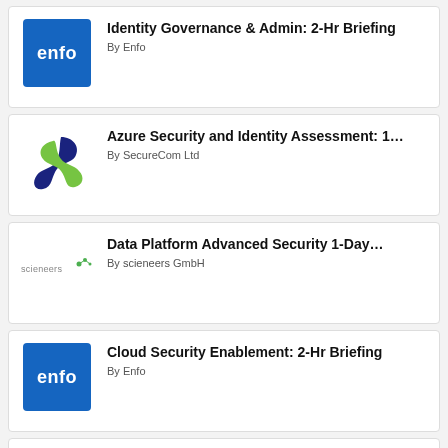Identity Governance & Admin: 2-Hr Briefing
By Enfo
Azure Security and Identity Assessment: 1...
By SecureCom Ltd
Data Platform Advanced Security 1-Day...
By scieneers GmbH
Cloud Security Enablement: 2-Hr Briefing
By Enfo
Security Service – 1 Hour Briefing